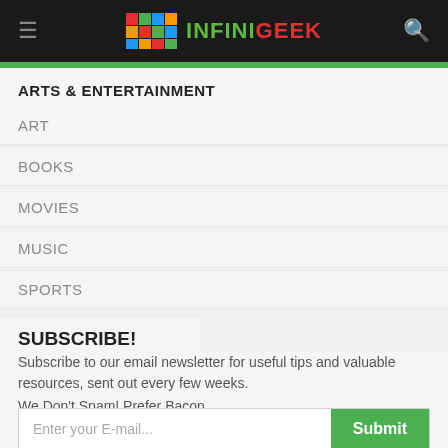INFINIGEEK
ARTS & ENTERTAINMENT
ART
BOOKS
MOVIES
MUSIC
SPORTS
SUBSCRIBE!
Subscribe to our email newsletter for useful tips and valuable resources, sent out every few weeks.
We Don't Spam! Prefer Bacon.